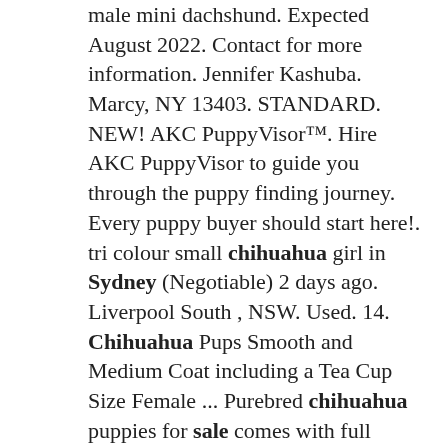male mini dachshund. Expected August 2022. Contact for more information. Jennifer Kashuba. Marcy, NY 13403. STANDARD. NEW! AKC PuppyVisor™. Hire AKC PuppyVisor to guide you through the puppy finding journey. Every puppy buyer should start here!. tri colour small chihuahua girl in Sydney (Negotiable) 2 days ago. Liverpool South , NSW. Used. 14. Chihuahua Pups Smooth and Medium Coat including a Tea Cup Size Female ... Purebred chihuahua puppies for sale comes with full papers. 1 female & 1 male puppy left. 6 days ago. Grantville , VIC. Used. 4. Purebred Chihuahua Puppies Ready Now. Find puppies for sale and adoption, dogs for sale and adoption, labrador retrievers, german shepherds, yorkshire terriers, beagles, golden retrievers, bulldogs, boxers, dachshunds, poodles, shih tzus, rottweilers, miniature schnauzers, chihuahuas and more. Sell...